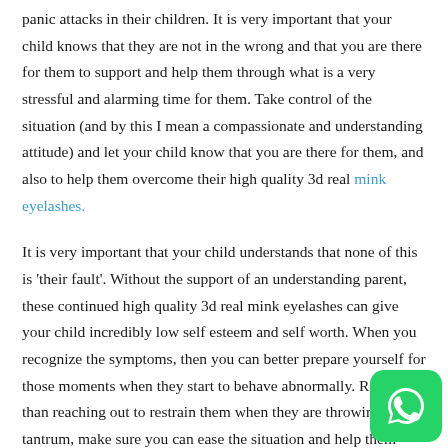panic attacks in their children. It is very important that your child knows that they are not in the wrong and that you are there for them to support and help them through what is a very stressful and alarming time for them. Take control of the situation (and by this I mean a compassionate and understanding attitude) and let your child know that you are there for them, and also to help them overcome their high quality 3d real mink eyelashes.
It is very important that your child understands that none of this is 'their fault'. Without the support of an understanding parent, these continued high quality 3d real mink eyelashes can give your child incredibly low self esteem and self worth. When you recognize the symptoms, then you can better prepare yourself for those moments when they start to behave abnormally. Rather than reaching out to restrain them when they are throwing a tantrum, make sure you can ease the situation and help them calm down sooner. It is also very important to keep reminding yourself that is in no way a reflection on you as a parent. Instead panic and
[Figure (other): WhatsApp contact button icon, green rounded square with white phone/chat icon]